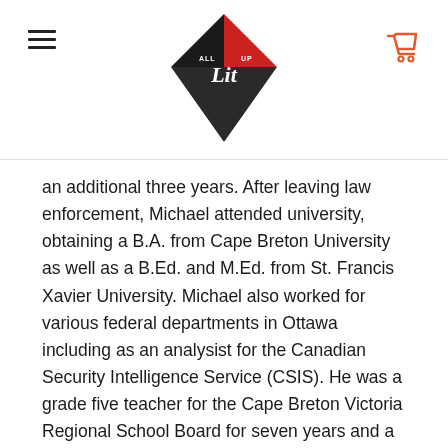All Lit Up logo with hamburger menu and cart icon
an additional three years. After leaving law enforcement, Michael attended university, obtaining a B.A. from Cape Breton University as well as a B.Ed. and M.Ed. from St. Francis Xavier University. Michael also worked for various federal departments in Ottawa including as an analysist for the Canadian Security Intelligence Service (CSIS). He was a grade five teacher for the Cape Breton Victoria Regional School Board for seven years and a consultant for the Department of Education in Nova Scotia for two years. Michael is an advocate for Indigenizing curriculum within the public and First Nation school systems. He has instructed university courses at Acadia, Cape Breton University and McGill. Michael is